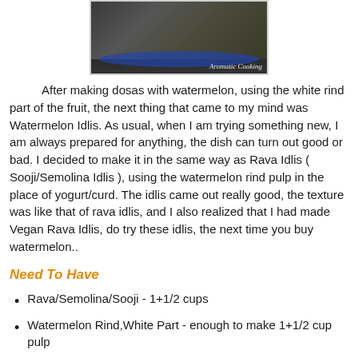[Figure (photo): Photo of idlis on a plate with dark background, watermark reading 'Aromatic Cooking']
After making dosas with watermelon, using the white rind part of the fruit, the next thing that came to my mind was Watermelon Idlis. As usual, when I am trying something new, I am always prepared for anything, the dish can turn out good or bad. I decided to make it in the same way as Rava Idlis ( Sooji/Semolina Idlis ), using the watermelon rind pulp in the place of yogurt/curd. The idlis came out really good, the texture was like that of rava idlis, and I also realized that I had made Vegan Rava Idlis, do try these idlis, the next time you buy watermelon..
Need To Have
Rava/Semolina/Sooji - 1+1/2 cups
Watermelon Rind,White Part - enough to make 1+1/2 cup pulp
Baking Soda - 1 table...